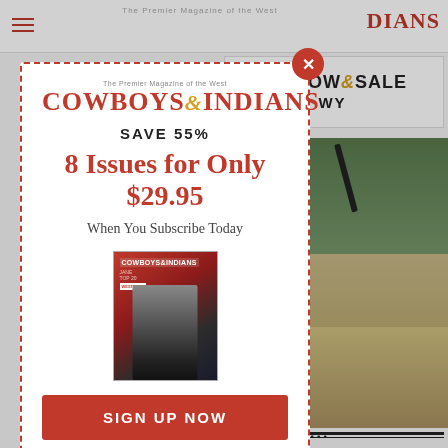Cowboys & Indians — magazine website header
[Figure (screenshot): Background page showing Cowboys & Indians magazine website with Art Show & Sale banner, Cody WY, and outdoor photo with guns and sheep]
[Figure (infographic): Modal popup subscription offer: Cowboys & Indians magazine. SAVE 55%. 8 Issues for Only $29.95. When You Subscribe Today. Magazine cover thumbnail. SIGN UP NOW button.]
SAVE 55%
8 Issues for Only $29.95
When You Subscribe Today
SIGN UP NOW
ART SHOW & SALE
• CODY, WY